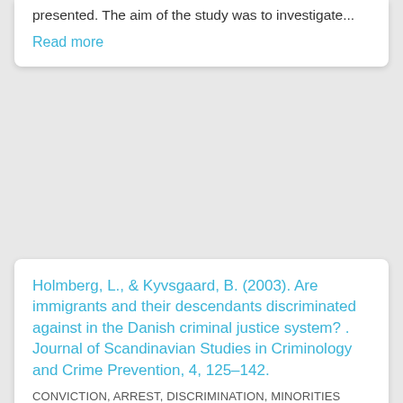presented. The aim of the study was to investigate...
Read more
Holmberg, L., & Kyvsgaard, B. (2003). Are immigrants and their descendants discriminated against in the Danish criminal justice system? . Journal of Scandinavian Studies in Criminology and Crime Prevention, 4, 125–142.
CONVICTION, ARREST, DISCRIMINATION, MINORITIES
The study presents Danish data from 2000 showing disparities between persons with a Danish background and